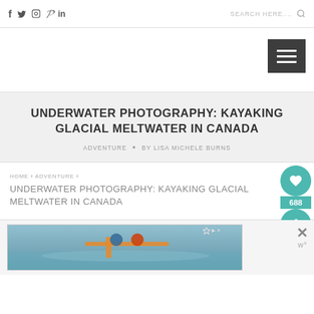f  𝕏  ◎  𝒫  in    SEARCH HERE....  🔍
[Figure (screenshot): Hamburger menu icon (three white lines on dark gray background) in the top right of the header area]
UNDERWATER PHOTOGRAPHY: KAYAKING GLACIAL MELTWATER IN CANADA
ADVENTURE • BY LISA MICHELE BURNS
HOME › ADVENTURE › UNDERWATER PHOTOGRAPHY: KAYAKING GLACIAL MELTWATER IN CANADA
[Figure (infographic): Teal circular social share widget with heart icon (688 count) and share button]
[Figure (photo): Advertisement banner showing people kayaking on water, with ad controls and close button]